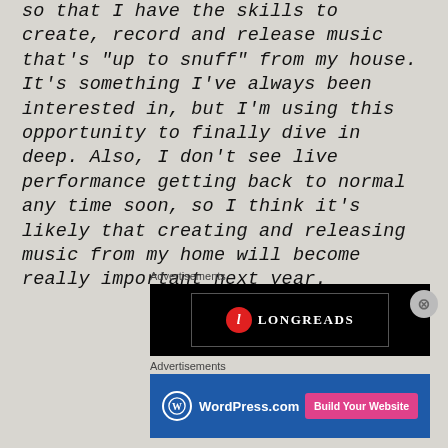so that I have the skills to create, record and release music that’s “up to snuff” from my house. It’s something I’ve always been interested in, but I’m using this opportunity to finally dive in deep. Also, I don’t see live performance getting back to normal any time soon, so I think it’s likely that creating and releasing music from my home will become really important next year.
Advertisements
[Figure (screenshot): Advertisement banner with black background showing Longreads logo (red circle with L and white text LONGREADS)]
Advertisements
[Figure (screenshot): WordPress.com advertisement banner with blue background, WordPress logo on left and pink Build Your Website button on right]